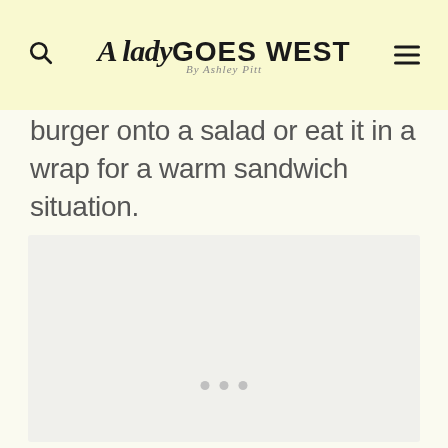A Lady Goes West by Ashley Pitt
burger onto a salad or eat it in a wrap for a warm sandwich situation.
[Figure (photo): Image placeholder with three dots indicating a slideshow or loading image area]